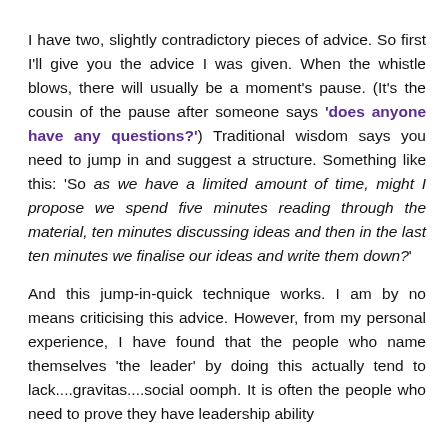I have two, slightly contradictory pieces of advice. So first I'll give you the advice I was given. When the whistle blows, there will usually be a moment's pause. (It's the cousin of the pause after someone says 'does anyone have any questions?') Traditional wisdom says you need to jump in and suggest a structure. Something like this: 'So as we have a limited amount of time, might I propose we spend five minutes reading through the material, ten minutes discussing ideas and then in the last ten minutes we finalise our ideas and write them down?'
And this jump-in-quick technique works. I am by no means criticising this advice. However, from my personal experience, I have found that the people who name themselves 'the leader' by doing this actually tend to lack....gravitas....social oomph. It is often the people who need to prove they have leadership ability